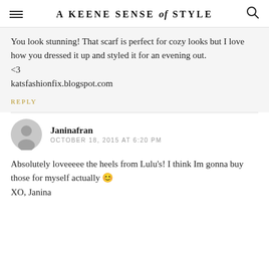A KEENE SENSE of STYLE
You look stunning! That scarf is perfect for cozy looks but I love how you dressed it up and styled it for an evening out.
<3
katsfashionfix.blogspot.com
REPLY
Janinafran
OCTOBER 18, 2015 AT 6:20 PM
Absolutely loveeeee the heels from Lulu's! I think Im gonna buy those for myself actually 😊
XO, Janina